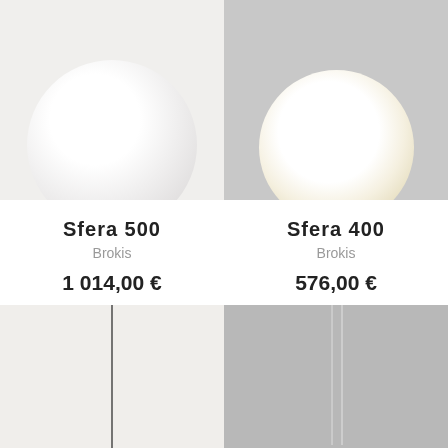[Figure (photo): Close-up product photo of Sfera 500 pendant lamp by Brokis — large white matte spherical glass globe against white background]
[Figure (photo): Close-up product photo of Sfera 400 pendant lamp by Brokis — white opal glowing spherical glass globe against grey background]
Sfera 500
Brokis
1 014,00 €
Sfera 400
Brokis
576,00 €
[Figure (photo): Product photo of a pendant lamp with thin black rod and white spherical glass shade against light grey background]
[Figure (photo): Product photo of a pendant lamp with thin white cable and white opal rounded glass shade against grey background]
VOTRE COUPON 🏷